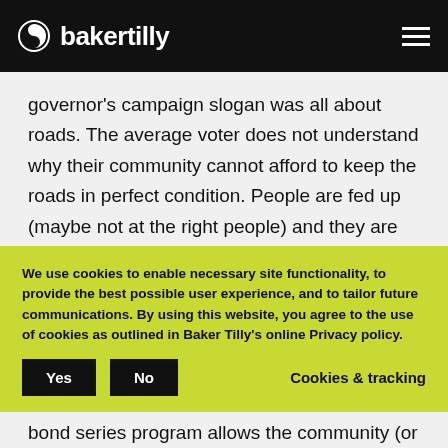bakertilly
governor's campaign slogan was all about roads. The average voter does not understand why their community cannot afford to keep the roads in perfect condition. People are fed up (maybe not at the right people) and they are voting 'yes' for many of their communities' programs.
We use cookies to enable necessary site functionality, to provide the best possible user experience, and to tailor future communications. By using this website, you agree to the use of cookies as outlined in Baker Tilly's online Privacy policy.
bond series program allows the community (or